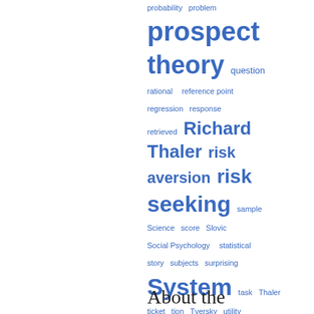[Figure (infographic): Word cloud of index terms related to behavioral economics and psychology, displayed in shades of blue with varying font sizes indicating frequency/importance. Terms include: probability, problem, prospect theory, question, rational, reference point, regression, response, retrieved, Richard Thaler, risk aversion, risk seeking, sample, Science, score, Slovic, Social Psychology, statistical, story, subjects, surprising, System, task, Thaler, ticket, tion, Tversky, utility, wealth, well-being, words, WYSIATI]
About the